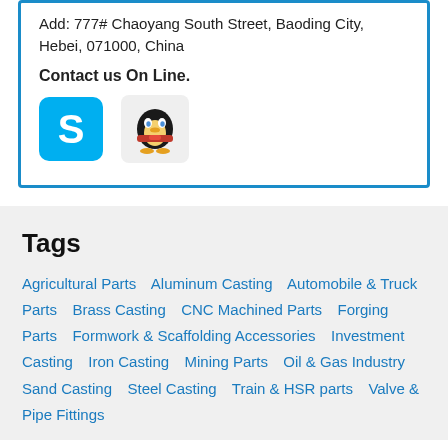Add: 777# Chaoyang South Street, Baoding City, Hebei, 071000, China
Contact us On Line.
[Figure (logo): Skype logo icon (blue square with white S)]
[Figure (logo): QQ penguin mascot icon]
Tags
Agricultural Parts
Aluminum Casting
Automobile & Truck Parts
Brass Casting
CNC Machined Parts
Forging Parts
Formwork & Scaffolding Accessories
Investment Casting
Iron Casting
Mining Parts
Oil & Gas Industry
Sand Casting
Steel Casting
Train & HSR parts
Valve & Pipe Fittings